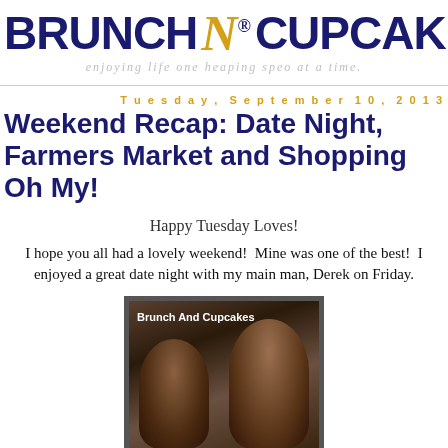BRUNCH N CUPCAKES — enjoying life one heaping speo at a time.
Tuesday, September 10, 2013
Weekend Recap: Date Night, Farmers Market and Shopping Oh My!
Happy Tuesday Loves!
I hope you all had a lovely weekend!  Mine was one of the best!  I enjoyed a great date night with my main man, Derek on Friday.
[Figure (photo): Sepia-toned couple photo with watermark 'Brunch And Cupcakes'. Shows two people close together in dim lighting.]